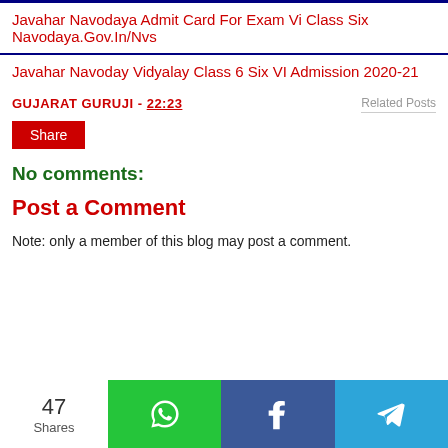Javahar Navodaya Admit Card For Exam Vi Class Six Navodaya.Gov.In/Nvs
Javahar Navoday Vidyalay Class 6 Six VI Admission 2020-21
GUJARAT GURUJI - 22:23
Related Posts
Share
No comments:
Post a Comment
Note: only a member of this blog may post a comment.
47 Shares